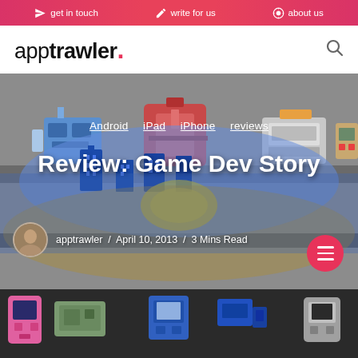get in touch  write for us  about us
apptrawler.
[Figure (screenshot): Hero image showing a game dev simulation app screenshot with pixel-art style game devices and a blurred city background. Overlaid with article category links and title.]
Android  iPad  iPhone  reviews
Review: Game Dev Story
apptrawler / April 10, 2013 / 3 Mins Read